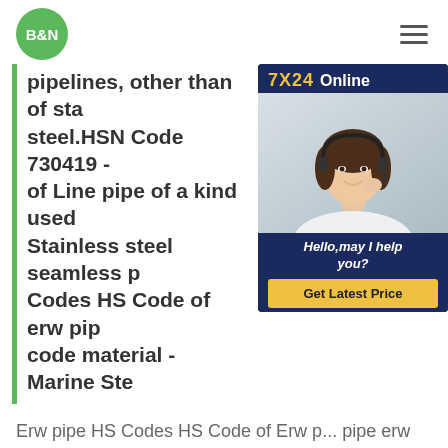B&N
pipelines, other than of stainless steel.HSN Code 730419 - of Line pipe of a kind used for Stainless steel seamless p... Codes HS Code of erw pip... code material - Marine Ste...
[Figure (photo): 7X24 Online chat widget with woman wearing headset, Hello may I help you? Get Latest Price button]
Erw pipe HS Codes HS Code of Erw p... pipe erw pipe hsn code material. 9 row... used for Erw pipe - Import. Hs Code. Description. No of Shipments. 7306. Other Tubes, Pipes And Hollow Profiles (For Example, Open Seam Or Welded, Riveted Or Similarly Closed), Of Iron Or Stee. 73063090. Other. 30.